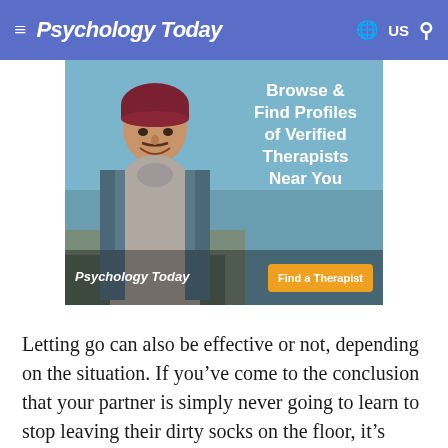≡ Psychology Today   🌐 US 🔍
[Figure (illustration): Psychology Today advertisement banner featuring a smiling young man wearing a dark red beanie hat and a denim jacket over a grey t-shirt, with an outdoor/coastal background. Text overlay reads: 'Browse & Find Profiles of Verified Therapists Near You'. Bottom shows Psychology Today logo and an orange 'Find a Therapist' button.]
Letting go can also be effective or not, depending on the situation. If you've come to the conclusion that your partner is simply never going to learn to stop leaving their dirty socks on the floor, it's